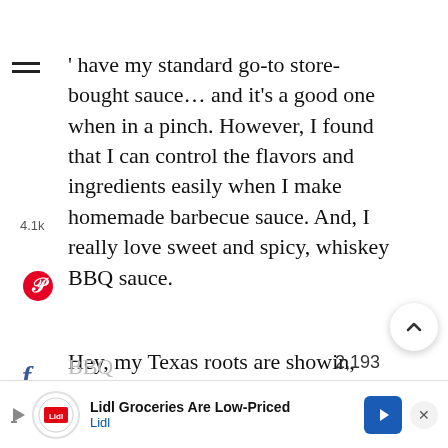' have my standard go-to store-bought sauce… and it's a good one when in a pinch. However, I found that I can control the flavors and ingredients easily when I make homemade barbecue sauce. And, I really love sweet and spicy, whiskey BBQ sauce.
Hey, my Texas roots are showin, y'all!
And it's so easy to whip up a batch of barbecue sauce, so why not? IMO, homemade BBQ...
[Figure (screenshot): Advertisement banner: Lidl Groceries Are Low-Priced, with Lidl logo, navigation arrow icon, and close button]